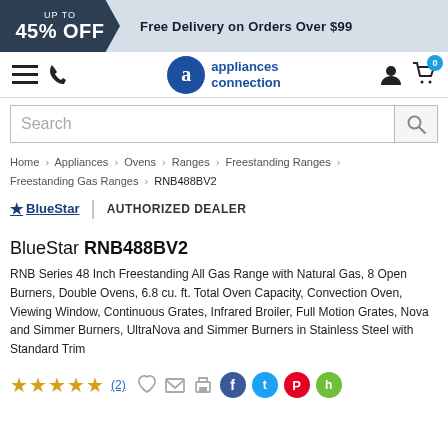UP TO 45% OFF | Free Delivery on Orders Over $99
[Figure (logo): Appliances Connection logo with circular 'a' icon]
Search
Home > Appliances > Ovens > Ranges > Freestanding Ranges > Freestanding Gas Ranges > RNB488BV2
[Figure (logo): BlueStar logo with star icon | AUTHORIZED DEALER]
BlueStar RNB488BV2
RNB Series 48 Inch Freestanding All Gas Range with Natural Gas, 8 Open Burners, Double Ovens, 6.8 cu. ft. Total Oven Capacity, Convection Oven, Viewing Window, Continuous Grates, Infrared Broiler, Full Motion Grates, Nova and Simmer Burners, UltraNova and Simmer Burners in Stainless Steel with Standard Trim
★★★★★ (2) [social icons: Facebook, Twitter, Pinterest, Houzz]